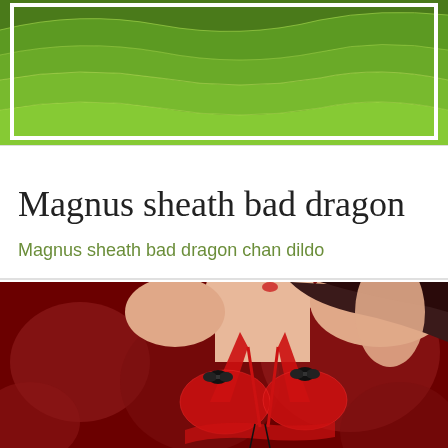[Figure (photo): Aerial view of green terraced rice fields or farmland, lush green landscape.]
Magnus sheath bad dragon
Magnus sheath bad dragon chan dildo
[Figure (photo): Woman in red lace lingerie with black bows, against a dark red background.]